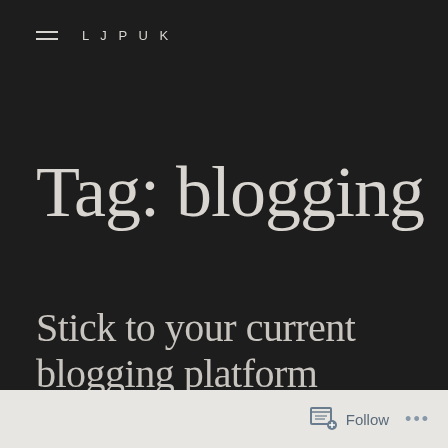LJPUK
Tag: blogging
Stick to your current blogging platform
Follow ...